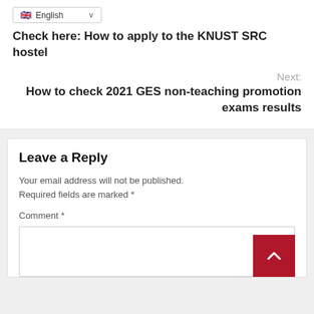[Figure (screenshot): Language selector dropdown showing English with UK flag]
Check here: How to apply to the KNUST SRC hostel
Next:
How to check 2021 GES non-teaching promotion exams results
Leave a Reply
Your email address will not be published. Required fields are marked *
Comment *